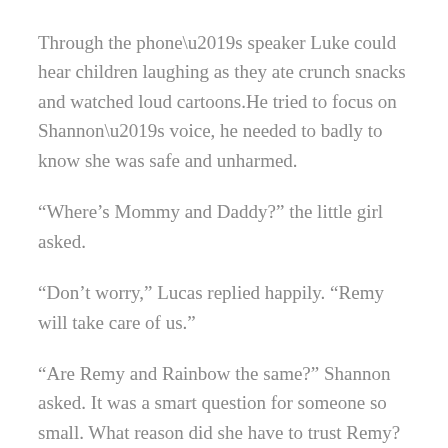Through the phone’s speaker Luke could hear children laughing as they ate crunch snacks and watched loud cartoons.He tried to focus on Shannon’s voice, he needed to badly to know she was safe and unharmed.
“Where’s Mommy and Daddy?” the little girl asked.
“Don’t worry,” Lucas replied happily. “Remy will take care of us.”
“Are Remy and Rainbow the same?” Shannon asked. It was a smart question for someone so small. What reason did she have to trust Remy?